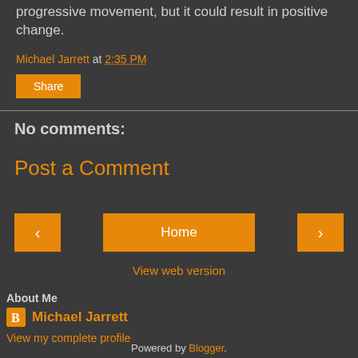progressive movement, but it could result in positive change.
Michael Jarrett at 2:35 PM
Share
No comments:
Post a Comment
< Home >
View web version
About Me
Michael Jarrett
View my complete profile
Powered by Blogger.